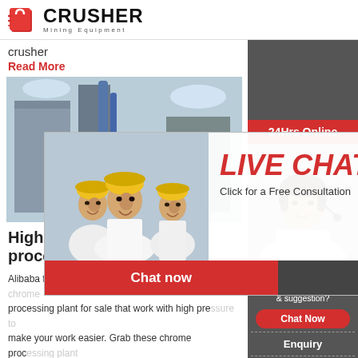[Figure (logo): CRUSHER Mining Equipment logo with red shopping bag icon and bold black text]
crusher
Read More
[Figure (photo): Industrial plant with blue pipes and metallic silos against sky]
High Pressure processing
Alibaba features a broad selection of optimal quality chrome processing plant for sale that work with high pressure to make your work easier. Grab these chrome processing plant for sale at low prices.
Read More
[Figure (photo): Mining or crushing equipment structure outdoors]
[Figure (infographic): 24Hrs Online live chat popup with workers in hard hats, LIVE CHAT text, Click for a Free Consultation, Chat now and Chat later buttons]
[Figure (infographic): Right sidebar: 24Hrs Online banner, customer service agent photo, Need questions & suggestion? Chat Now, Enquiry, limingjlmofen@sina.com]